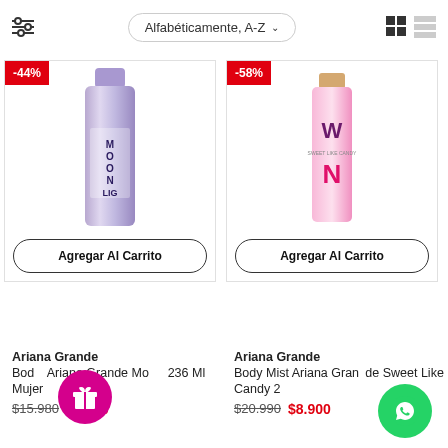Alfabéticamente, A-Z
[Figure (photo): Product card for Ariana Grande Body Mist Moonlight 236ml with -44% discount badge and Add to Cart button]
[Figure (photo): Product card for Ariana Grande Body Mist Sweet Like Candy with -58% discount badge and Add to Cart button]
Ariana Grande
Body Mist Ariana Grande Moonlight 236 Ml Mujer
$15.980  $8.900
Ariana Grande
Body Mist Ariana Grande Sweet Like Candy 2...
$20.990  $8.900